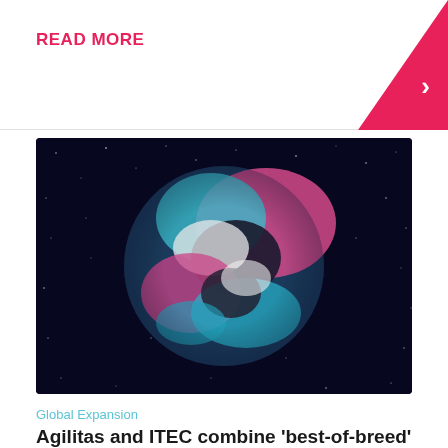READ MORE
[Figure (photo): Stylized image of Earth from space with pink and teal color tones against a dark starry background]
Global Expansion
Agilitas and ITEC combine 'best-of-breed' complementary service